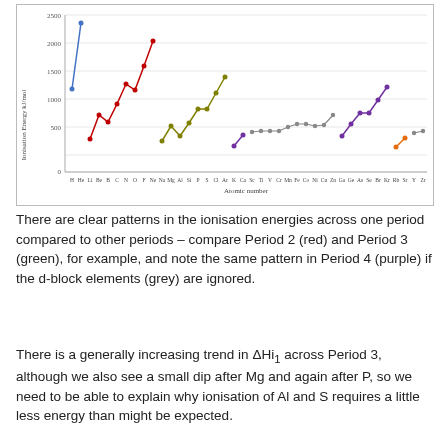[Figure (line-chart): Line chart showing first ionisation energies for elements H through Zr, coloured by period: Period 1 (blue: H, He), Period 2 (red: Li-Ne), Period 3 (green: Na-Ar), d-block Period 4 (grey: Sc-Zn), Period 4 s/p (purple: K,Ca,Ga-Kr), Period 5 partial (orange/grey: Rb,Sr,Y,Zr)]
There are clear patterns in the ionisation energies across one period compared to other periods – compare Period 2 (red) and Period 3 (green), for example, and note the same pattern in Period 4 (purple) if the d-block elements (grey) are ignored.
There is a generally increasing trend in ΔHi1 across Period 3, although we also see a small dip after Mg and again after P, so we need to be able to explain why ionisation of Al and S requires a little less energy than might be expected.